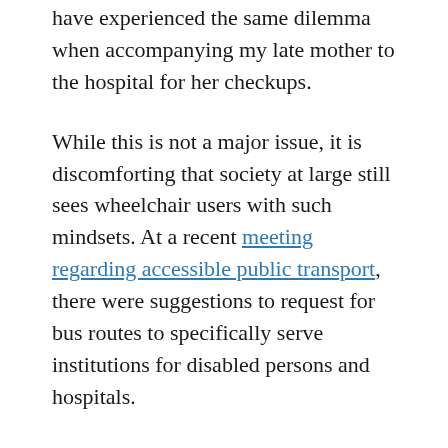have experienced the same dilemma when accompanying my late mother to the hospital for her checkups.
While this is not a major issue, it is discomforting that society at large still sees wheelchair users with such mindsets. At a recent meeting regarding accessible public transport, there were suggestions to request for bus routes to specifically serve institutions for disabled persons and hospitals.
That is another misconception. Not all disabled persons live in institutions. Many live in the community. That is how it should be. At the same time, accessible buses should not only